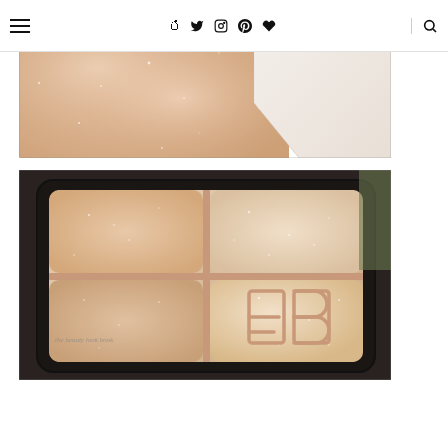Navigation bar with hamburger menu, social icons (Facebook, Twitter, Instagram, Pinterest, Heart), and search icon
[Figure (photo): Close-up macro photo of skin swatch showing shimmery peach-rose highlighter applied on skin, with corner of card/paper visible at top right]
[Figure (photo): Close-up photo of an Edward Bess (EB) highlighter palette with four quadrants of shimmery rose-champagne powder, each with slightly different finish, black compact frame, watermark 'the beauty look book']